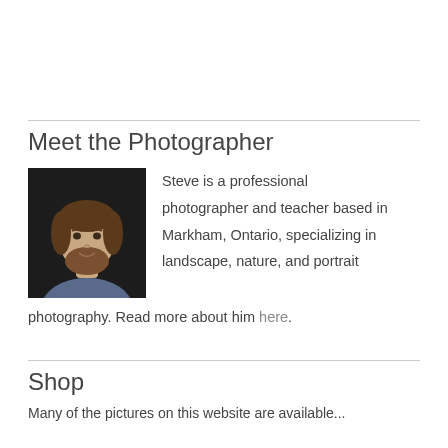Meet the Photographer
[Figure (photo): Headshot of a man with a beard wearing a plaid shirt, dark background]
Steve is a professional photographer and teacher based in Markham, Ontario, specializing in landscape, nature, and portrait photography. Read more about him here.
Shop
Many of the pictures on this website are available...